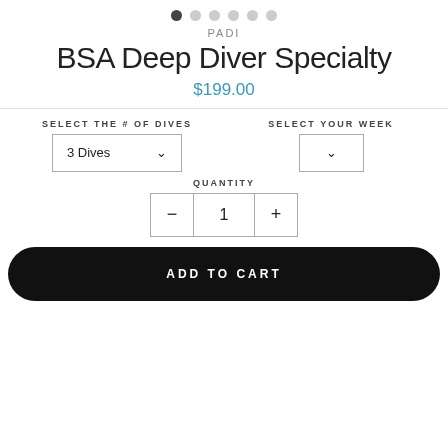[Figure (other): Carousel dot indicators: one filled dark dot followed by five light/empty dots]
PADI
BSA Deep Diver Specialty
$199.00
SELECT THE # OF DIVES
SELECT YOUR WEEK
3 Dives
QUANTITY
1
ADD TO CART